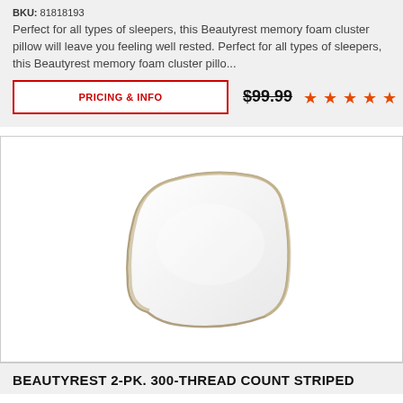BKU: 81818193
Perfect for all types of sleepers, this Beautyrest memory foam cluster pillow will leave you feeling well rested. Perfect for all types of sleepers, this Beautyrest memory foam cluster pillo...
PRICING & INFO
$99.99
[Figure (other): Five orange star rating icons]
[Figure (photo): A white pillow with tan/beige piping edge, shown at an angle on a white background]
BEAUTYREST 2-PK. 300-THREAD COUNT STRIPED